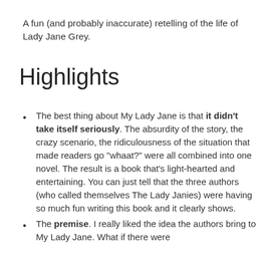A fun (and probably inaccurate) retelling of the life of Lady Jane Grey.
Highlights
The best thing about My Lady Jane is that it didn't take itself seriously. The absurdity of the story, the crazy scenario, the ridiculousness of the situation that made readers go “whaat?” were all combined into one novel. The result is a book that’s light-hearted and entertaining. You can just tell that the three authors (who called themselves The Lady Janies) were having so much fun writing this book and it clearly shows.
The premise. I really liked the idea the authors bring to My Lady Jane. What if there were